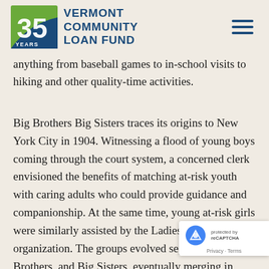Vermont Community Loan Fund — 35 Years logo with hamburger menu
anything from baseball games to in-school visits to hiking and other quality-time activities.
Big Brothers Big Sisters traces its origins to New York City in 1904. Witnessing a flood of young boys coming through the court system, a concerned clerk envisioned the benefits of matching at-risk youth with caring adults who could provide guidance and companionship. At the same time, young at-risk girls were similarly assisted by the Ladies of Charity organization. The groups evolved separately as Big Brothers, and Big Sisters, eventually merging in 1977. Today, Big Brothers Big Sisters chapters exist in all 50 states and 12 countries beyond the U.S.